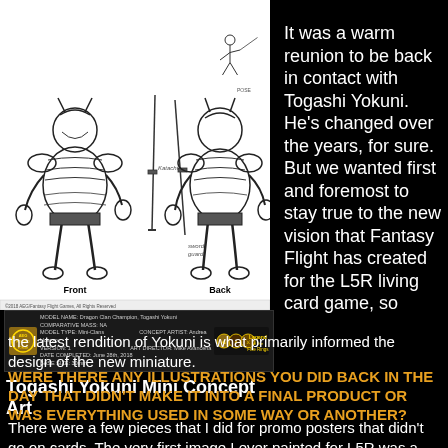[Figure (illustration): Togashi Yokuni Mini Concept Art showing front and back views of a samurai character with weapons, plus a small dynamic pose. Includes a specification bar at bottom with model details and Legend of the Five Rings logo.]
Togashi Yokuni Mini Concept Art
It was a warm reunion to be back in contact with Togashi Yokuni. He’s changed over the years, for sure. But we wanted first and foremost to stay true to the new vision that Fantasy Flight has created for the L5R living card game, so the latest rendition of Yokuni is what primarily informed the design of the new miniature.
WERE THERE ANY ILLUSTRATIONS YOU DID BACK IN THE DAY THAT DIDN’T MAKE IT INTO A FINAL PRODUCT OR WAS EVERYTHING USED IN SOME WAY OR ANOTHER?
There were a few pieces that I did for promo posters that didn’t go on cards. The very first image I ever painted for L5R was a sort